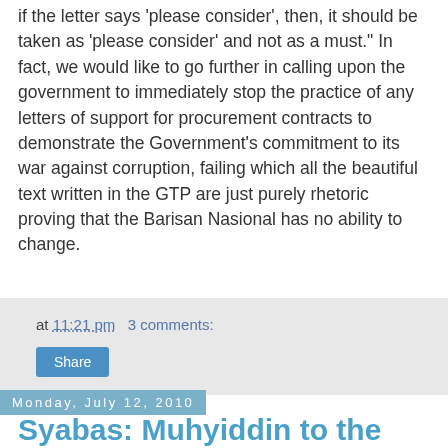if the letter says 'please consider', then, it should be taken as 'please consider' and not as a must." In fact, we would like to go further in calling upon the government to immediately stop the practice of any letters of support for procurement contracts to demonstrate the Government's commitment to its war against corruption, failing which all the beautiful text written in the GTP are just purely rhetoric proving that the Barisan Nasional has no ability to change.
at 11:21 pm   3 comments:
Share
Monday, July 12, 2010
Syabas: Muhyiddin to the Rescue!